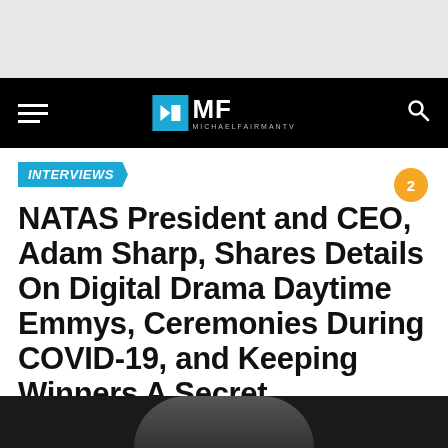[Figure (screenshot): Gray top area of a webpage]
MF MICHAELFAIRMANTV — navigation bar with hamburger menu and search icon
INTERVIEWS
NATAS President and CEO, Adam Sharp, Shares Details On Digital Drama Daytime Emmys, Ceremonies During COVID-19, and Keeping Winners A Secret
July 14, 2020
[Figure (photo): Bottom portion of page showing a photo beginning to appear]